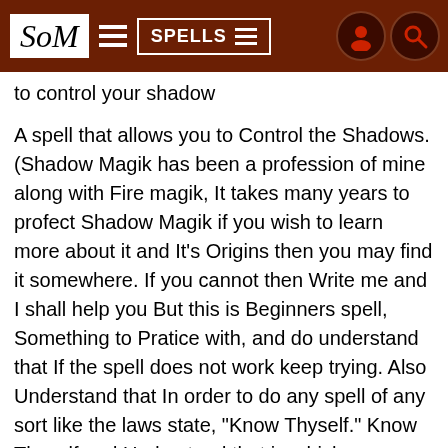SoM  SPELLS
to control your shadow
A spell that allows you to Control the Shadows. (Shadow Magik has been a profession of mine along with Fire magik, It takes many years to profect Shadow Magik if you wish to learn more about it and It's Origins then you may find it somewhere. If you cannot then Write me and I shall help you But this is Beginners spell, Something to Pratice with, and do understand that If the spell does not work keep trying. Also Understand that In order to do any spell of any sort like the laws state, "Know Thyself." Know Thyself and Understand that in which you decide to Practice. Because if you do not fully understand something then It will not work...Understand and Embrace the Shadows, For they just like you and a being, They may not breath or eat or feed but yet they still have personalities of